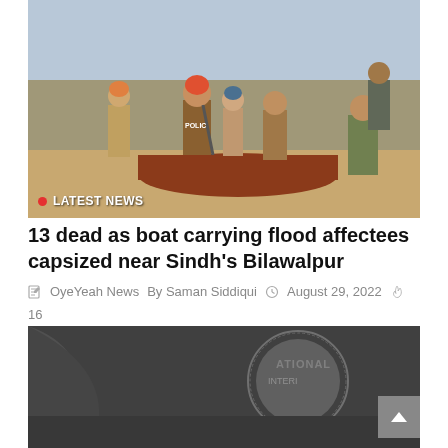[Figure (photo): People near a boat on a riverbank, including a police officer with a weapon, flood affectees being assisted. LATEST NEWS badge overlay in bottom-left corner.]
13 dead as boat carrying flood affectees capsized near Sindh's Bilawalpur
OyeYeah News  By Saman Siddiqui  August 29, 2022  16
[Figure (photo): IMF (International Monetary Fund) building sign/logo, dark architectural photo.]